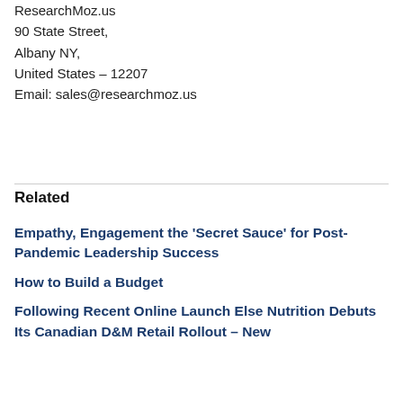ResearchMoz.us
90 State Street,
Albany NY,
United States – 12207
Email: sales@researchmoz.us
Related
Empathy, Engagement the 'Secret Sauce' for Post-Pandemic Leadership Success
How to Build a Budget
Following Recent Online Launch Else Nutrition Debuts Its Canadian D&M Retail Rollout – New